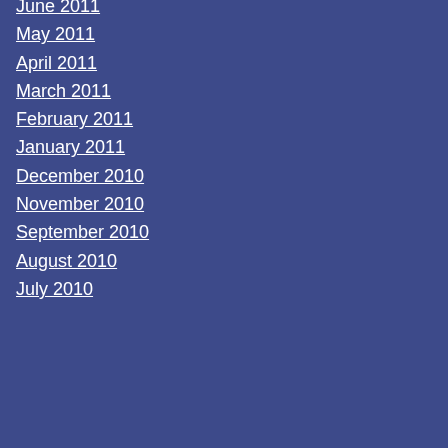June 2011
May 2011
April 2011
March 2011
February 2011
January 2011
December 2010
November 2010
September 2010
August 2010
July 2010